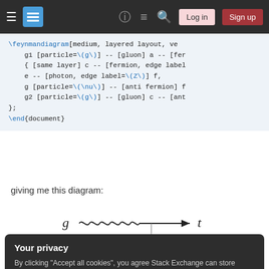Stack Exchange navigation bar with hamburger menu, logo, help, chat, search icons, Log in and Sign up buttons
\feynmandiagram[medium, layered layout, ve
    g1 [particle=\(g\)] -- [gluon] a -- [fer
    { [same layer] c -- [fermion, edge label
    e -- [photon, edge label=\(Z\)] f,
    g [particle=\(\nu\)] -- [anti fermion] f
    g2 [particle=\(g\)] -- [gluon] c -- [ant
};
\end{document}
giving me this diagram:
[Figure (engineering-diagram): Partial Feynman diagram showing a gluon (g) connecting via a wavy line to an arrow pointing right toward t (top quark)]
Your privacy
By clicking "Accept all cookies", you agree Stack Exchange can store cookies on your device and disclose information in accordance with our Cookie Policy.
Accept all cookies  Customize settings